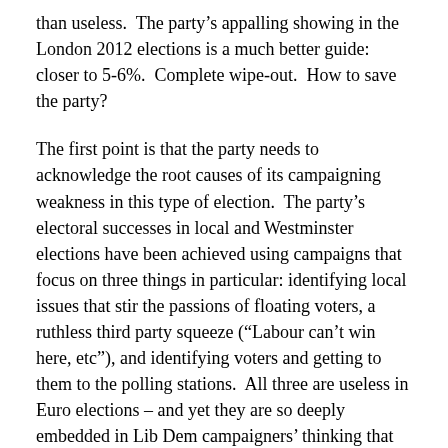than useless.  The party's appalling showing in the London 2012 elections is a much better guide: closer to 5-6%.  Complete wipe-out.  How to save the party?
The first point is that the party needs to acknowledge the root causes of its campaigning weakness in this type of election.  The party's electoral successes in local and Westminster elections have been achieved using campaigns that focus on three things in particular: identifying local issues that stir the passions of floating voters, a ruthless third party squeeze (“Labour can’t win here, etc”), and identifying voters and getting to them to the polling stations.  All three are useless in Euro elections – and yet they are so deeply embedded in Lib Dem campaigners’ thinking that they infect everything the party does.  The party fails to put over a message that motivates voters, and since canvassing covers such a small proportion of